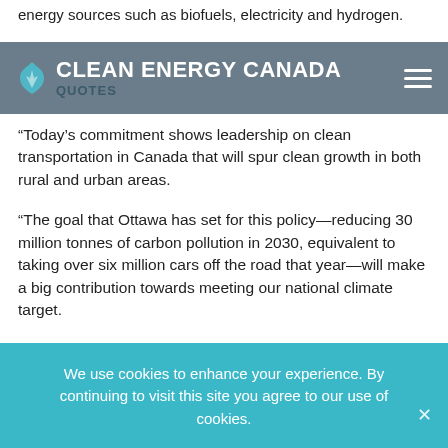energy sources such as biofuels, electricity and hydrogen.
CLEAN ENERGY CANADA | QUOTES
“Today’s commitment shows leadership on clean transportation in Canada that will spur clean growth in both rural and urban areas.
“The goal that Ottawa has set for this policy—reducing 30 million tonnes of carbon pollution in 2030, equivalent to taking over six million cars off the road that year—will make a big contribution towards meeting our national climate target.
“The federal government has chosen a cost-effective and proven policy tool. British Columbia’s clean and
We use cookies to enhance your experience. By continuing to visit this site you agree to our use of cookies.